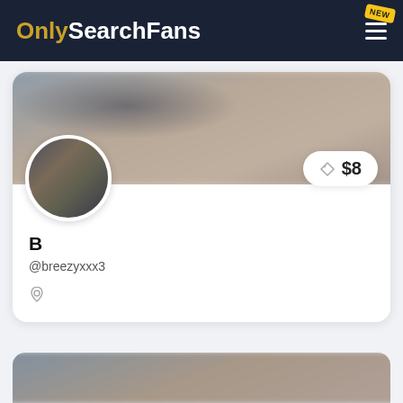OnlySearchFans
[Figure (screenshot): Profile card for user B (@breezyxxx3) with blurred banner image, circular avatar showing person in plaid shirt, price badge showing $8, and location icon.]
B
@breezyxxx3
[Figure (photo): Partially visible blurred profile card at the bottom of the page.]